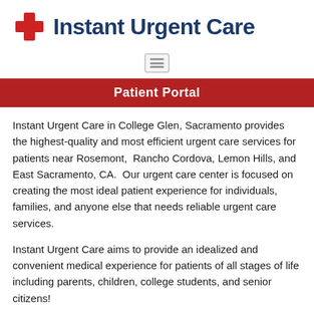[Figure (logo): Instant Urgent Care logo with red cross and blue text]
[Figure (other): Hamburger menu icon with three horizontal lines inside a rounded rectangle]
Patient Portal
Instant Urgent Care in College Glen, Sacramento provides the highest-quality and most efficient urgent care services for patients near Rosemont, Rancho Cordova, Lemon Hills, and East Sacramento, CA. Our urgent care center is focused on creating the most ideal patient experience for individuals, families, and anyone else that needs reliable urgent care services.
Instant Urgent Care aims to provide an idealized and convenient medical experience for patients of all stages of life including parents, children, college students, and senior citizens!